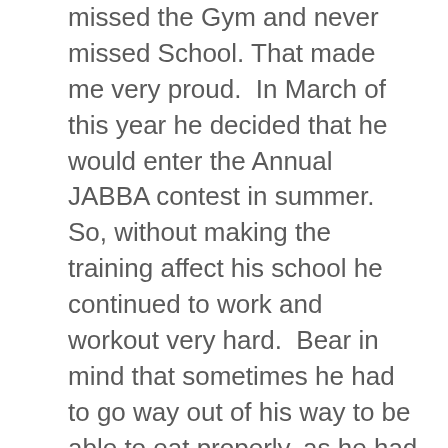missed the Gym and never missed School. That made me very proud.  In March of this year he decided that he would enter the Annual JABBA contest in summer. So, without making the training affect his school he continued to work and workout very hard.  Bear in mind that sometimes he had to go way out of his way to be able to eat properly, as he had to be very careful of his intake. I made sure to provide Dennis with all the supplements required and always had a positive attitude. His drive and effort drove me to be very supportive.
Dennis completed his first year at university in June and we expected him to come home and train fully with Dwight to finish the preparation for the contest in August. However, Dennis pulled a big surprise on us. He decided to also